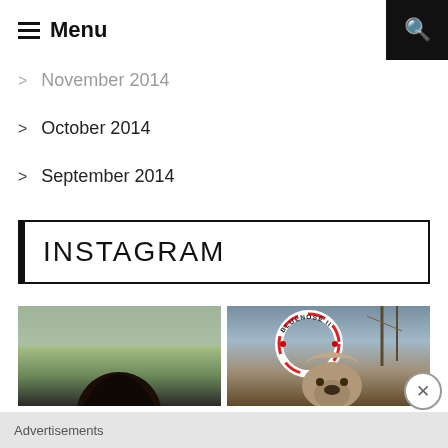≡ Menu
November 2014
October 2014
September 2014
INSTAGRAM
[Figure (photo): Instagram photo: person outdoors in nature with dark hair, foggy background]
[Figure (photo): Instagram photo: dog in front of Bluenose II life ring on a boat]
Advertisements